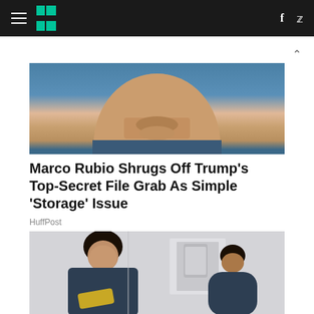HuffPost navigation bar with hamburger menu, logo, Facebook and Twitter icons
[Figure (photo): Close-up photo of a man's lower face and chin against a blue background]
Marco Rubio Shrugs Off Trump's Top-Secret File Grab As Simple 'Storage' Issue
HuffPost
[Figure (photo): Photo of a smiling nurse in dark scrubs with crossed arms holding yellow gloves, with another healthcare worker in the background]